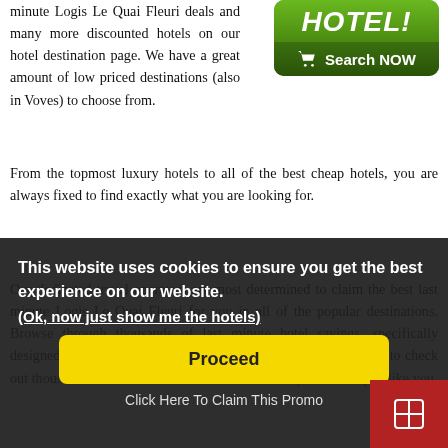minute Logis Le Quai Fleuri deals and many more discounted hotels on our hotel destination page. We have a great amount of low priced destinations (also in Voves) to choose from. From the topmost luxury hotels to all of the best cheap hotels, you are always fixed to find exactly what you are looking for.
[Figure (other): Green hotel search button with 'HOTEL!' text and shopping cart 'Search NOW' button]
Our dedicated travel operators are most determined to claim the best last minute Logis Le Quai Fleuri for you in all of the popular destinations. Browse through thousands of last minute hotel savings, specifically designed for hotel bookings on specific destinations. Don't forget to check out thousands of hotel reviews which are written by travellers just like you.
This website uses cookies to ensure you get the best experience on our website.
(Ok, now just show me the hotels)
Proceed
Click Here To Claim This Promo